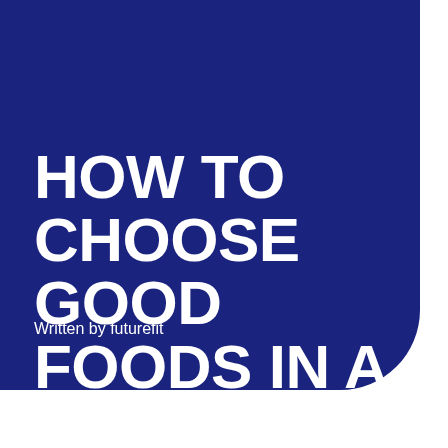HOW TO CHOOSE GOOD FOODS IN A SUPERMARKET
Written by futurefit